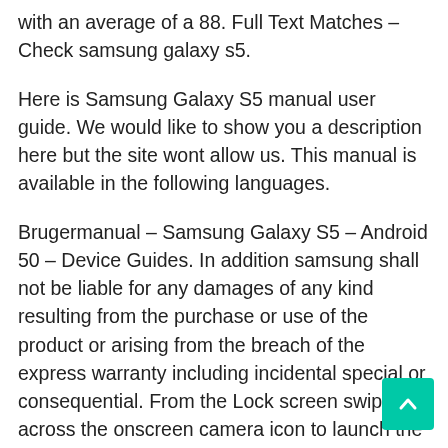with an average of a 88. Full Text Matches – Check samsung galaxy s5.
Here is Samsung Galaxy S5 manual user guide. We would like to show you a description here but the site wont allow us. This manual is available in the following languages.
Brugermanual – Samsung Galaxy S5 – Android 50 – Device Guides. In addition samsung shall not be liable for any damages of any kind resulting from the purchase or use of the product or arising from the breach of the express warranty including incidental special or consequential. From the Lock screen swipe across the onscreen camera icon to launch the camera application.